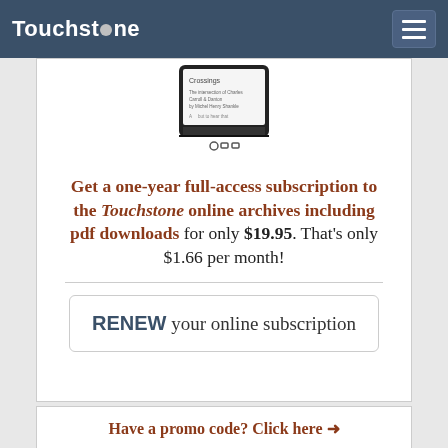Touchstone
[Figure (photo): Smartphone displaying a Touchstone article page]
Get a one-year full-access subscription to the Touchstone online archives including pdf downloads for only $19.95. That's only $1.66 per month!
RENEW your online subscription
Have a promo code? Click here →